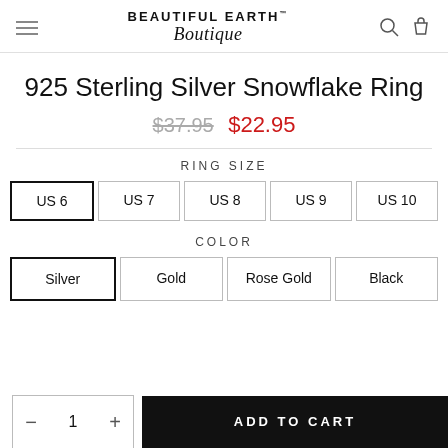BEAUTIFUL EARTH Boutique
925 Sterling Silver Snowflake Ring
$37.95  $22.95
RING SIZE
US 6  US 7  US 8  US 9  US 10
COLOR
Silver  Gold  Rose Gold  Black
- 1 +  ADD TO CART